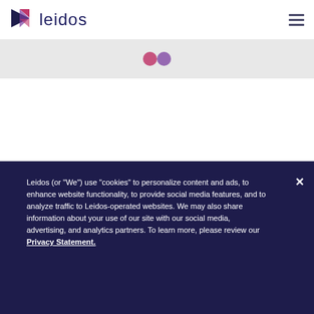[Figure (logo): Leidos company logo with purple/pink triangular arrow shape and dark navy 'leidos' text]
[Figure (illustration): Hamburger menu icon (three horizontal lines) in gray on right side of navigation bar]
[Figure (illustration): Gray stripe with two small decorative pink/purple circles near center]
Leidos (or “We”) use “cookies” to personalize content and ads, to enhance website functionality, to provide social media features, and to analyze traffic to Leidos-operated websites. We may also share information about your use of our site with our social media, advertising, and analytics partners. To learn more, please review our Privacy Statement.